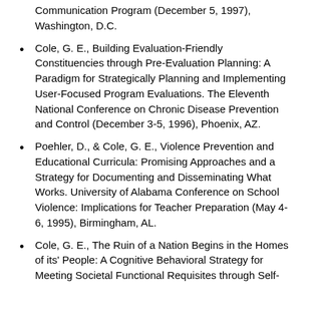Communication Program (December 5, 1997), Washington, D.C.
Cole, G. E., Building Evaluation-Friendly Constituencies through Pre-Evaluation Planning: A Paradigm for Strategically Planning and Implementing User-Focused Program Evaluations. The Eleventh National Conference on Chronic Disease Prevention and Control (December 3-5, 1996), Phoenix, AZ.
Poehler, D., & Cole, G. E., Violence Prevention and Educational Curricula: Promising Approaches and a Strategy for Documenting and Disseminating What Works. University of Alabama Conference on School Violence: Implications for Teacher Preparation (May 4-6, 1995), Birmingham, AL.
Cole, G. E., The Ruin of a Nation Begins in the Homes of its' People: A Cognitive Behavioral Strategy for Meeting Societal Functional Requisites through Self-